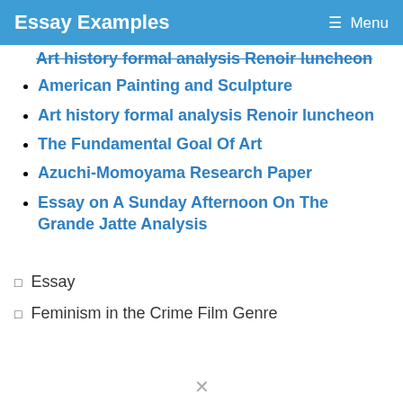Essay Examples   Menu
Art history formal analysis Renoir luncheon (partial, top)
American Painting and Sculpture
Art history formal analysis Renoir luncheon
The Fundamental Goal Of Art
Azuchi-Momoyama Research Paper
Essay on A Sunday Afternoon On The Grande Jatte Analysis
Essay
Feminism in the Crime Film Genre